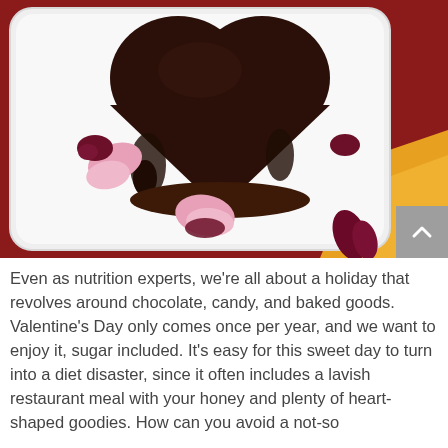[Figure (photo): A heart-shaped chocolate cake with dark chocolate glaze on a white rectangular plate, garnished with pink rose petals and drops of red berry sauce. Orange fabric visible in background, red/crimson background.]
Even as nutrition experts, we're all about a holiday that revolves around chocolate, candy, and baked goods. Valentine's Day only comes once per year, and we want to enjoy it, sugar included. It's easy for this sweet day to turn into a diet disaster, since it often includes a lavish restaurant meal with your honey and plenty of heart-shaped goodies. How can you avoid a not-so